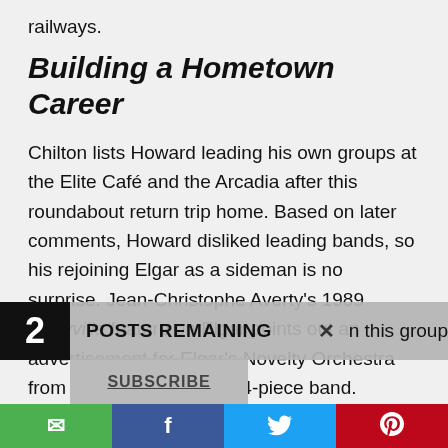railways.
Building a Hometown Career
Chilton lists Howard leading his own groups at the Elite Café and the Arcadia after this roundabout return trip home. Based on later comments, Howard disliked leading bands, so his rejoining Elgar as a sideman is no surprise. Jean-Christophe Averty's 1989 Storyville feature on Elgar points out an advertisement for Elgar's Novelty Orchestra from 1918 that shows a 14-piece band. Despite the photograph's poor quality, it is possible to identify members of this group
2 POSTS REMAINING x n this group SUBSCRIBE